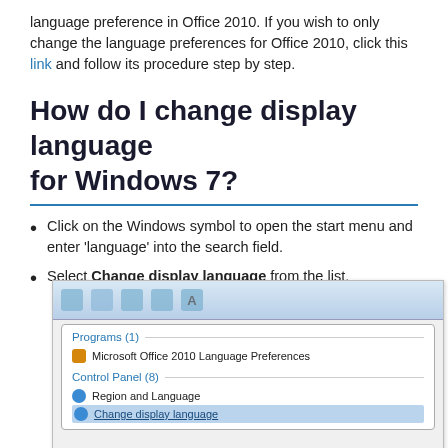language preference in Office 2010. If you wish to only change the language preferences for Office 2010, click this link and follow its procedure step by step.
How do I change display language for Windows 7?
Click on the Windows symbol to open the start menu and enter 'language' into the search field.
Select Change display language from the list.
[Figure (screenshot): Windows 7 Start Menu search results showing 'Programs (1): Microsoft Office 2010 Language Preferences' and 'Control Panel (8): Region and Language, Change display language (highlighted)'.]